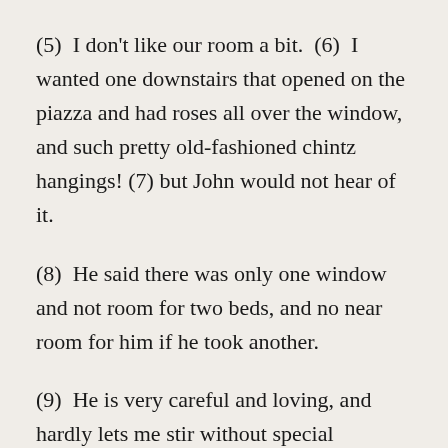(5)  I don't like our room a bit.  (6)  I wanted one downstairs that opened on the piazza and had roses all over the window, and such pretty old-fashioned chintz hangings! (7) but John would not hear of it.
(8)  He said there was only one window and not room for two beds, and no near room for him if he took another.
(9)  He is very careful and loving, and hardly lets me stir without special direction.
(10)  I have a schedule prescription for each hour in the day; he takes all care from me, and so I feel